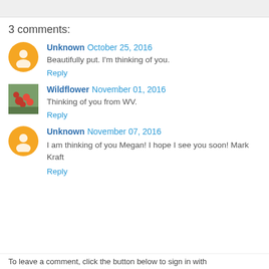3 comments:
Unknown  October 25, 2016
Beautifully put. I'm thinking of you.
Reply
Wildflower  November 01, 2016
Thinking of you from WV.
Reply
Unknown  November 07, 2016
I am thinking of you Megan! I hope I see you soon! Mark Kraft
Reply
To leave a comment, click the button below to sign in with